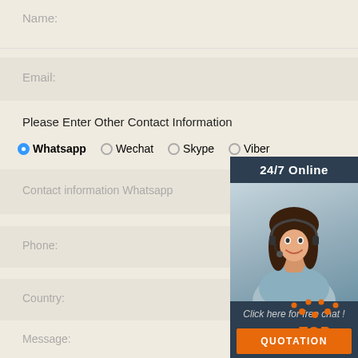Name:
Email:
Please Enter Other Contact Information
Whatsapp  Wechat  Skype  Viber
Contact information Whatsapp
Phone:
Country:
[Figure (photo): Customer service representative woman with headset smiling, with '24/7 Online' header, 'Click here for free chat!' text, and orange QUOTATION button]
Message:
[Figure (other): Orange TOP button with dotted arc above it]